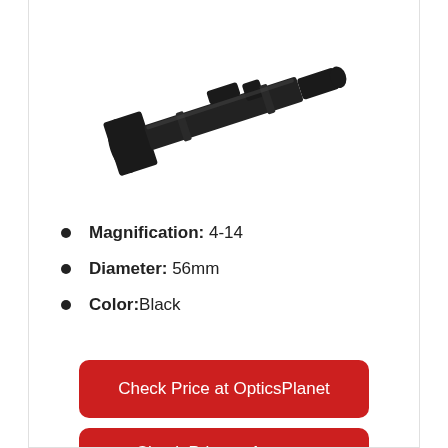[Figure (photo): A black rifle scope (riflescope) shown at an angle, 4-14x56mm, black finish]
Magnification: 4-14
Diameter: 56mm
Color: Black
Check Price at OpticsPlanet
Check Price at Amazon